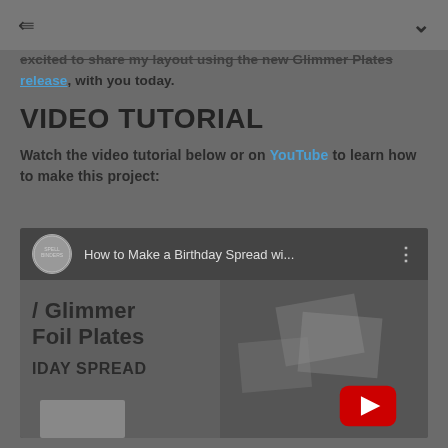share icon | chevron down
excited to share my layout using the new Glimmer Plates release, with you today.
VIDEO TUTORIAL
Watch the video tutorial below or on YouTube to learn how to make this project:
[Figure (screenshot): YouTube video embed showing 'How to Make a Birthday Spread wi...' with Spellbinders channel avatar, video title bar, and thumbnail showing Glimmer Foil Plates Birthday Spread content with a red YouTube play button overlay]